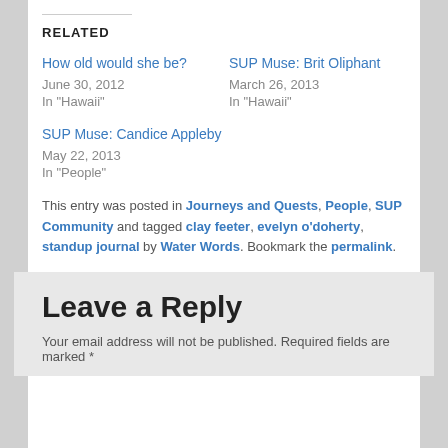RELATED
How old would she be?
June 30, 2012
In "Hawaii"
SUP Muse: Brit Oliphant
March 26, 2013
In "Hawaii"
SUP Muse: Candice Appleby
May 22, 2013
In "People"
This entry was posted in Journeys and Quests, People, SUP Community and tagged clay feeter, evelyn o'doherty, standup journal by Water Words. Bookmark the permalink.
Leave a Reply
Your email address will not be published. Required fields are marked *